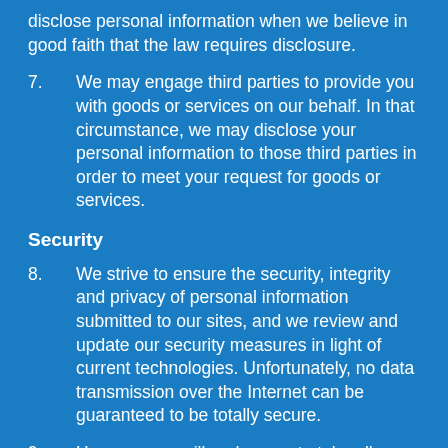disclose personal information when we believe in good faith that the law requires disclosure.
7.	We may engage third parties to provide you with goods or services on our behalf. In that circumstance, we may disclose your personal information to those third parties in order to meet your request for goods or services.
Security
8.	We strive to ensure the security, integrity and privacy of personal information submitted to our sites, and we review and update our security measures in light of current technologies. Unfortunately, no data transmission over the Internet can be guaranteed to be totally secure.
9.	However, we will endeavour to take all reasonable steps to protect the personal information you may transmit to us or from our online products and services. Once we do receive your transmission, we will also make our best efforts to ensure its security on our systems.
10.	In addition, our employees and the contractors who